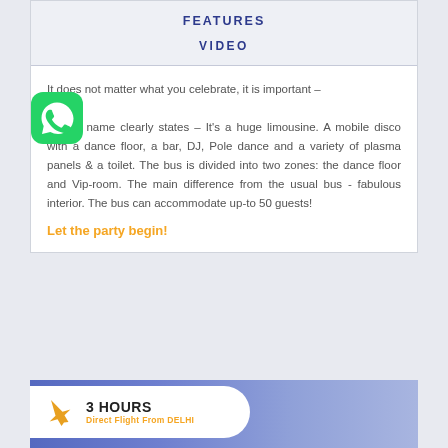FEATURES
VIDEO
It does not matter what you celebrate, it is important – here! As the name clearly states – It's a huge limousine. A mobile disco with a dance floor, a bar, DJ, Pole dance and a variety of plasma panels & a toilet. The bus is divided into two zones: the dance floor and Vip-room. The main difference from the usual bus - fabulous interior. The bus can accommodate up-to 50 guests!
Let the party begin!
[Figure (logo): WhatsApp green logo icon]
[Figure (infographic): Banner with airplane icon, 3 HOURS, Direct Flight From DELHI text on white pill shape, purple/blue gradient background]